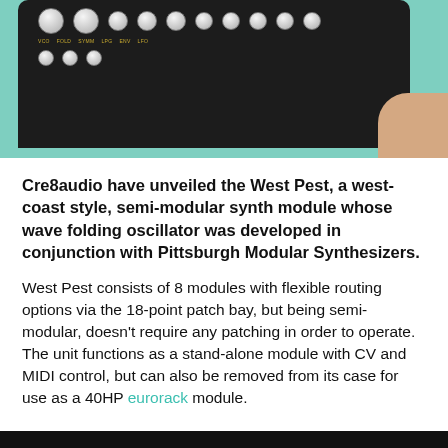[Figure (photo): Top-down photo of the Cre8audio West Pest synthesizer module, a black rectangular device with white knobs and yellow labels, held on a teal/mint green background, with a hand visible at the right edge.]
Cre8audio have unveiled the West Pest, a west-coast style, semi-modular synth module whose wave folding oscillator was developed in conjunction with Pittsburgh Modular Synthesizers.
West Pest consists of 8 modules with flexible routing options via the 18-point patch bay, but being semi-modular, doesn't require any patching in order to operate. The unit functions as a stand-alone module with CV and MIDI control, but can also be removed from its case for use as a 40HP eurorack module.
[Figure (photo): Bottom portion of another photo, showing a dark/black device at the very bottom edge of the page.]